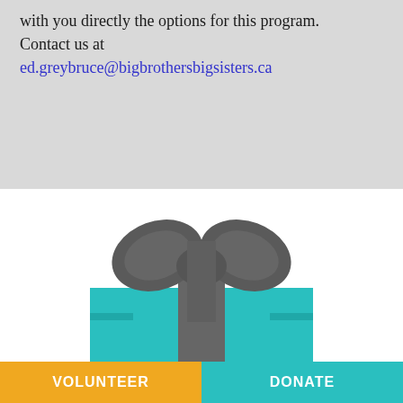with you directly the options for this program. Contact us at ed.greybruce@bigbrothersbigsisters.ca
[Figure (illustration): A teal gift box with a gray ribbon and bow on top, partially visible at the bottom of the white section.]
VOLUNTEER
DONATE